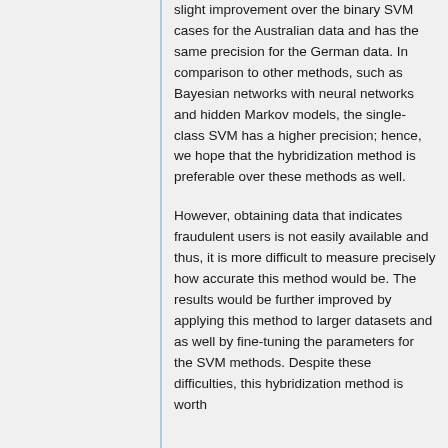slight improvement over the binary SVM cases for the Australian data and has the same precision for the German data. In comparison to other methods, such as Bayesian networks with neural networks and hidden Markov models, the single-class SVM has a higher precision; hence, we hope that the hybridization method is preferable over these methods as well.
However, obtaining data that indicates fraudulent users is not easily available and thus, it is more difficult to measure precisely how accurate this method would be. The results would be further improved by applying this method to larger datasets and as well by fine-tuning the parameters for the SVM methods. Despite these difficulties, this hybridization method is worth